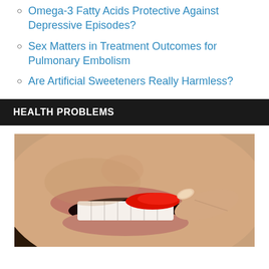Omega-3 Fatty Acids Protective Against Depressive Episodes?
Sex Matters in Treatment Outcomes for Pulmonary Embolism
Are Artificial Sweeteners Really Harmless?
HEALTH PROBLEMS
[Figure (photo): Close-up photo of a woman pulling down her lower lip to reveal inflamed red gum tissue, with white teeth visible]